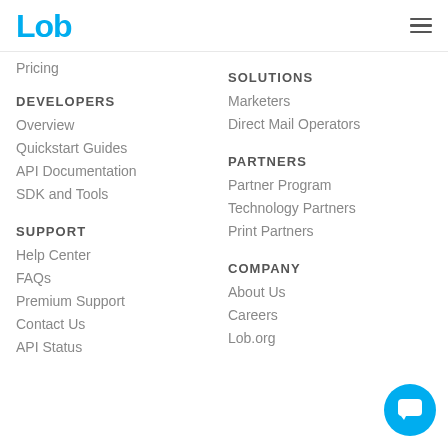Lob
Pricing
DEVELOPERS
Overview
Quickstart Guides
API Documentation
SDK and Tools
SUPPORT
Help Center
FAQs
Premium Support
Contact Us
API Status
SOLUTIONS
Marketers
Direct Mail Operators
PARTNERS
Partner Program
Technology Partners
Print Partners
COMPANY
About Us
Careers
Lob.org